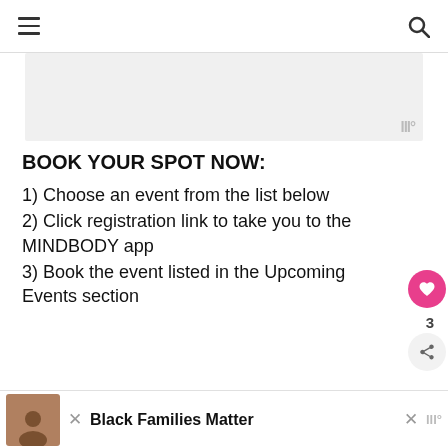≡  🔍
[Figure (other): Gray advertisement placeholder image area with small logo watermark at bottom-right]
BOOK YOUR SPOT NOW:
1) Choose an event from the list below
2) Click registration link to take you to the MINDBODY app
3) Book the event listed in the Upcoming Events section
Saturday, June 4th – ConBody FREE Event
[Figure (photo): Advertisement banner: Black Families Matter with photo of people]
Black Families Matter ×